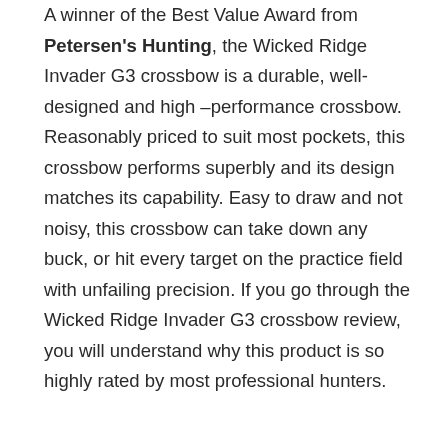A winner of the Best Value Award from Petersen's Hunting, the Wicked Ridge Invader G3 crossbow is a durable, well-designed and high –performance crossbow. Reasonably priced to suit most pockets, this crossbow performs superbly and its design matches its capability. Easy to draw and not noisy, this crossbow can take down any buck, or hit every target on the practice field with unfailing precision. If you go through the Wicked Ridge Invader G3 crossbow review, you will understand why this product is so  highly rated by most professional hunters.